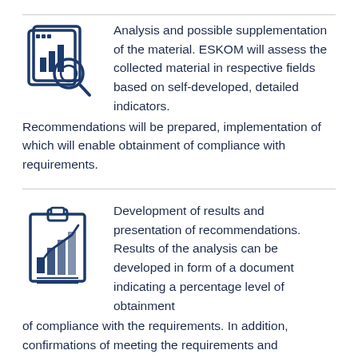[Figure (illustration): Icon of a report/chart with a magnifying glass, drawn in dark navy blue outline style]
Analysis and possible supplementation of the material. ESKOM will assess the collected material in respective fields based on self-developed, detailed indicators. Recommendations will be prepared, implementation of which will enable obtainment of compliance with requirements.
[Figure (illustration): Icon of a clipboard with a bar chart, drawn in dark navy blue outline style]
Development of results and presentation of recommendations. Results of the analysis can be developed in form of a document indicating a percentage level of obtainment of compliance with the requirements. In addition, confirmations of meeting the requirements and recommendations will be presented, in case of necessity to undertake corrective activities. Material will also be discussed with representatives of the Organisation during